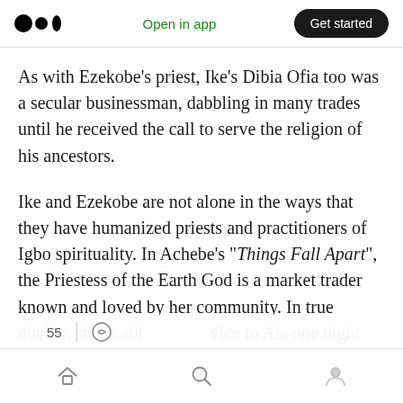Open in app | Get started
As with Ezekobe’s priest, Ike’s Dibia Ofia too was a secular businessman, dabbling in many trades until he received the call to serve the religion of his ancestors.
Ike and Ezekobe are not alone in the ways that they have humanized priests and practitioners of Igbo spirituality. In Achebe’s “Things Fall Apart”, the Priestess of the Earth God is a market trader known and loved by her community. In true duality, she is abl … vice to Ala one night and the next morning revert to the well-
Home | Search | Profile